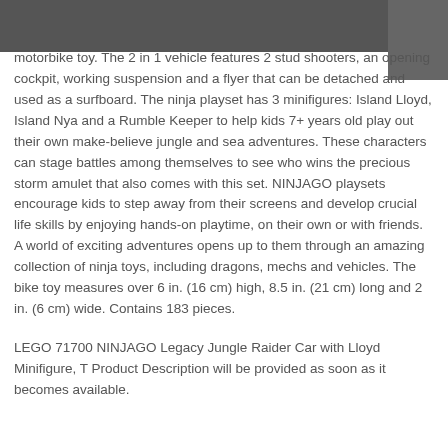motorbike toy. The 2 in 1 vehicle features 2 stud shooters, an opening cockpit, working suspension and a flyer that can be detached and used as a surfboard. The ninja playset has 3 minifigures: Island Lloyd, Island Nya and a Rumble Keeper to help kids 7+ years old play out their own make-believe jungle and sea adventures. These characters can stage battles among themselves to see who wins the precious storm amulet that also comes with this set. NINJAGO playsets encourage kids to step away from their screens and develop crucial life skills by enjoying hands-on playtime, on their own or with friends. A world of exciting adventures opens up to them through an amazing collection of ninja toys, including dragons, mechs and vehicles. The bike toy measures over 6 in. (16 cm) high, 8.5 in. (21 cm) long and 2 in. (6 cm) wide. Contains 183 pieces.
LEGO 71700 NINJAGO Legacy Jungle Raider Car with Lloyd Minifigure, T Product Description will be provided as soon as it becomes available.